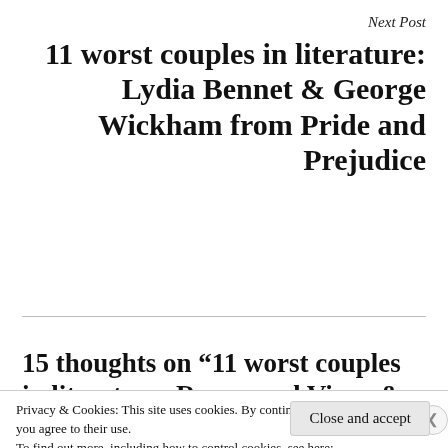Next Post
11 worst couples in literature: Lydia Bennet & George Wickham from Pride and Prejudice
15 thoughts on “11 worst couples in literature: Rosamund Vincy &
Privacy & Cookies: This site uses cookies. By continuing to use this website, you agree to their use.
To find out more, including how to control cookies, see here:
Cookie Policy
Close and accept